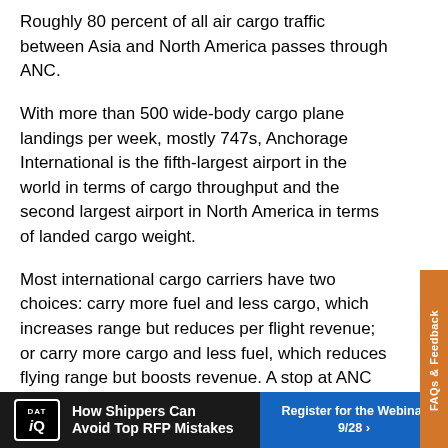Roughly 80 percent of all air cargo traffic between Asia and North America passes through ANC.
With more than 500 wide-body cargo plane landings per week, mostly 747s, Anchorage International is the fifth-largest airport in the world in terms of cargo throughput and the second largest airport in North America in terms of landed cargo weight.
Most international cargo carriers have two choices: carry more fuel and less cargo, which increases range but reduces per flight revenue; or carry more cargo and less fuel, which reduces flying range but boosts revenue. A stop at ANC gives carriers the best of all worlds. Carriers can shoulder an extra 100,000 pounds of cargo just by making a fuel stop in Anchorage. Conservative estimates indicate that carriers have the
[Figure (other): Orange vertical sidebar tab reading 'FAQs & Feedback' rotated vertically on the right side of the page]
[Figure (other): Advertisement banner: DAT iQ logo on black background with text 'How Shippers Can Avoid Top RFP Mistakes' and blue button 'Register for the Webinar 9/28 >']